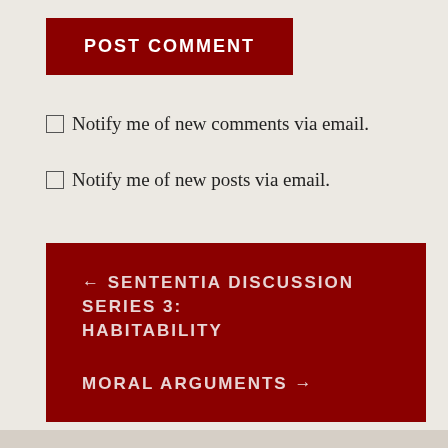POST COMMENT
Notify me of new comments via email.
Notify me of new posts via email.
← SENTENTIA DISCUSSION SERIES 3: HABITABILITY
MORAL ARGUMENTS →